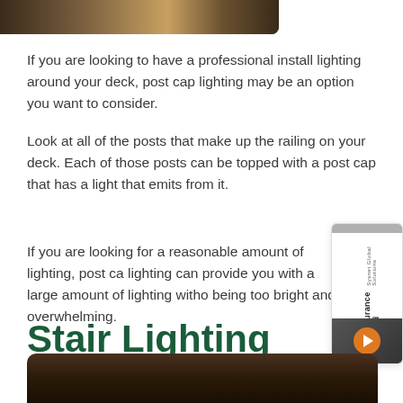[Figure (photo): Partial view of a deck with warm lighting, showing wooden surfaces and ambient glow at top of page]
If you are looking to have a professional install lighting around your deck, post cap lighting may be an option you want to consider.
Look at all of the posts that make up the railing on your deck. Each of those posts can be topped with a post cap that has a light that emits from it.
If you are looking for a reasonable amount of lighting, post cap lighting can provide you with a large amount of lighting without being too bright and overwhelming.
[Figure (illustration): Advertisement card for Sysnet Global Solutions Assurance Card with orange arrow button]
Stair Lighting
[Figure (photo): Partial view of wooden deck stairs at bottom of page, dark tones]